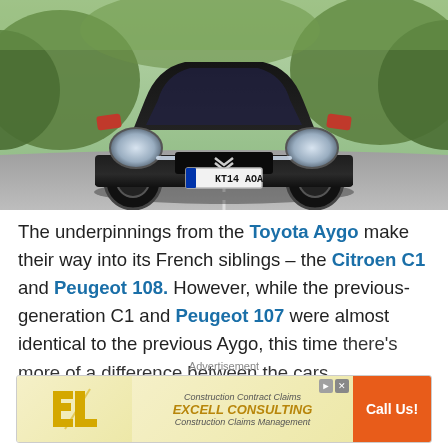[Figure (photo): A black Citroen C1 hatchback with red wing mirrors, licence plate KT14 AOA, driving on a road with green hedges in background]
The underpinnings from the Toyota Aygo make their way into its French siblings – the Citroen C1 and Peugeot 108. However, while the previous-generation C1 and Peugeot 107 were almost identical to the previous Aygo, this time there's more of a difference between the cars.
Advertisement
[Figure (infographic): Advertisement banner for Excell Consulting – Construction Contract Claims, Construction Claims Management, with orange Call Us! button]